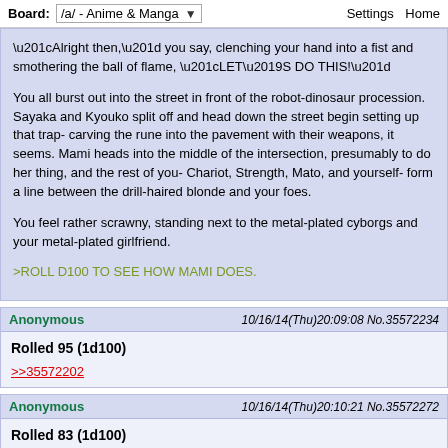Board: /a/ - Anime & Manga | Settings Home
“Alright then,” you say, clenching your hand into a fist and smothering the ball of flame, “LET’S DO THIS!”

You all burst out into the street in front of the robot-dinosaur procession. Sayaka and Kyouko split off and head down the street begin setting up that trap- carving the rune into the pavement with their weapons, it seems. Mami heads into the middle of the intersection, presumably to do her thing, and the rest of you- Chariot, Strength, Mato, and yourself- form a line between the drill-haired blonde and your foes.

You feel rather scrawny, standing next to the metal-plated cyborgs and your metal-plated girlfriend.

>ROLL D100 TO SEE HOW MAMI DOES.
Anonymous 10/16/14(Thu)20:09:08 No.35572234
Rolled 95 (1d100)
>>35572202
Anonymous 10/16/14(Thu)20:10:21 No.35572272
Rolled 83 (1d100)
>>35572202